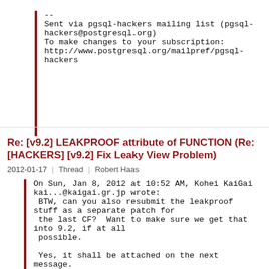--
Sent via pgsql-hackers mailing list (pgsql-hackers@postgresql.org)
To make changes to your subscription:
http://www.postgresql.org/mailpref/pgsql-hackers
Re: [v9.2] LEAKPROOF attribute of FUNCTION (Re: [HACKERS] [v9.2] Fix Leaky View Problem)
2012-01-17 | Thread | Robert Haas
On Sun, Jan 8, 2012 at 10:52 AM, Kohei KaiGai kai...@kaigai.gr.jp wrote:
 BTW, can you also resubmit the leakproof stuff as a separate patch for
 the last CF?  Want to make sure we get that into 9.2, if at all
 possible.

 Yes, it shall be attached on the next message.